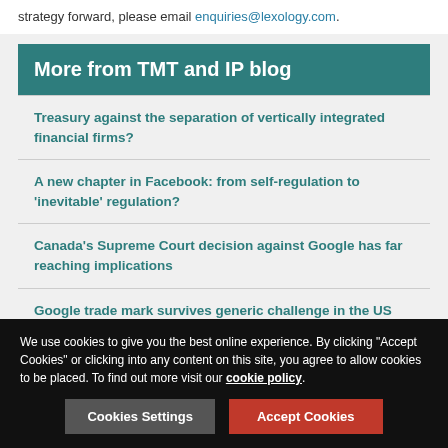strategy forward, please email enquiries@lexology.com.
More from TMT and IP blog
Treasury against the separation of vertically integrated financial firms?
A new chapter in Facebook: from self-regulation to 'inevitable' regulation?
Canada's Supreme Court decision against Google has far reaching implications
Google trade mark survives generic challenge in the US
From body cameras to self-analysing toilets - Privacy
We use cookies to give you the best online experience. By clicking "Accept Cookies" or clicking into any content on this site, you agree to allow cookies to be placed. To find out more visit our cookie policy.